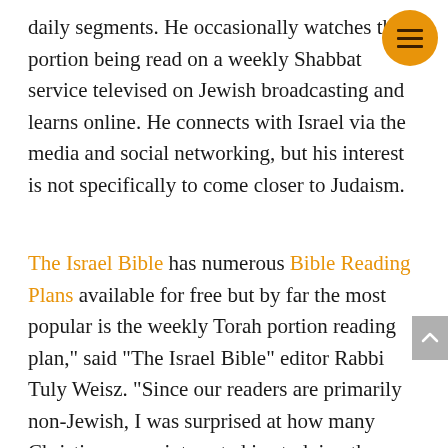daily segments. He occasionally watches the portion being read on a weekly Shabbat service televised on Jewish broadcasting and learns online. He connects with Israel via the media and social networking, but his interest is not specifically to come closer to Judaism.
The Israel Bible has numerous Bible Reading Plans available for free but by far the most popular is the weekly Torah portion reading plan," said "The Israel Bible" editor Rabbi Tuly Weisz. "Since our readers are primarily non-Jewish, I was surprised at how many Christians were interested in studying the weekly Torah portion. I thought that was just a 'Jewish thing'."